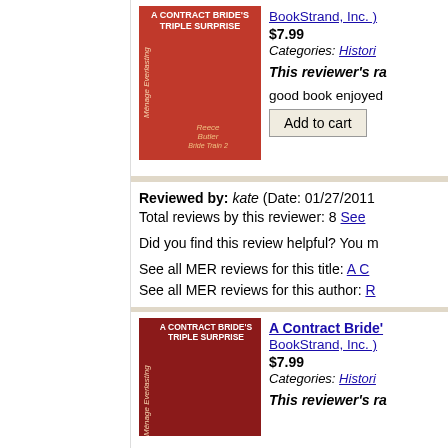[Figure (illustration): Book cover for A Contract Bride's Triple Surprise, red cover with romantic figures, Menage Everlasting series]
BookStrand, Inc. )
$7.99
Categories: Histori...
This reviewer's ra...
good book enjoyed
Add to cart
Reviewed by: kate (Date: 01/27/2011... Total reviews by this reviewer: 8 See...
Did you find this review helpful? You m...
See all MER reviews for this title: A C... See all MER reviews for this author: R...
[Figure (illustration): Second book cover for A Contract Bride's Triple Surprise, red cover similar to first]
A Contract Bride'...
BookStrand, Inc. )
$7.99
Categories: Histori...
This reviewer's ra...